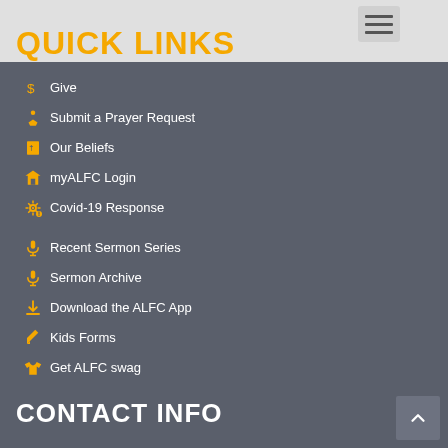QUICK LINKS
Give
Submit a Prayer Request
Our Beliefs
myALFC Login
Covid-19 Response
Recent Sermon Series
Sermon Archive
Download the ALFC App
Kids Forms
Get ALFC swag
CONTACT INFO
5610 Kitsap Way, Suite 230 Bremerton, WA 98312
360.377.9733
info@alfc.us
24/7 Check-in Support: Call 360.377.9733, Press 1